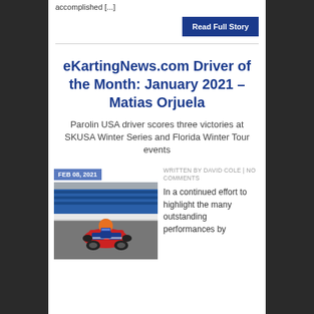accomplished [...]
Read Full Story
eKartingNews.com Driver of the Month: January 2021 – Matias Orjuela
Parolin USA driver scores three victories at SKUSA Winter Series and Florida Winter Tour events
FEB 08, 2021
WRITTEN BY DAVID COLE | NO COMMENTS
[Figure (photo): A karting driver racing on track, wearing a red/orange/blue kart with helmet, on a circuit with blue banners in the background]
In a continued effort to highlight the many outstanding performances by